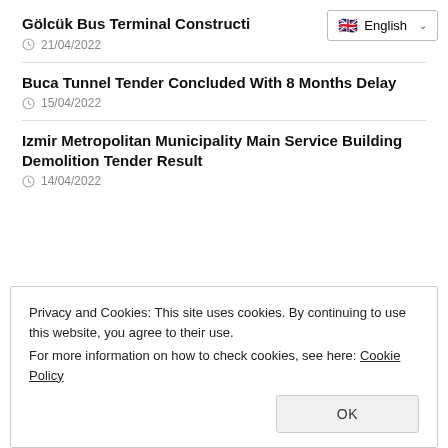Gölcük Bus Terminal Constructi…
21/04/2022
Buca Tunnel Tender Concluded With 8 Months Delay
15/04/2022
Izmir Metropolitan Municipality Main Service Building Demolition Tender Result
14/04/2022
Privacy and Cookies: This site uses cookies. By continuing to use this website, you agree to their use.
For more information on how to check cookies, see here: Cookie Policy